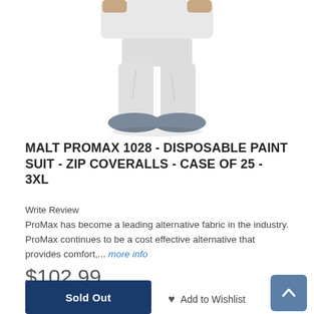[Figure (photo): Person wearing white disposable coverall paint suit with grey shoe covers, lower body visible from waist down]
MALT PROMAX 1028 - DISPOSABLE PAINT SUIT - ZIP COVERALLS - CASE OF 25 - 3XL
Write Review
ProMax has become a leading alternative fabric in the industry. ProMax continues to be a cost effective alternative that provides comfort,... more info
$102.99
Sold Out
Add to Wishlist